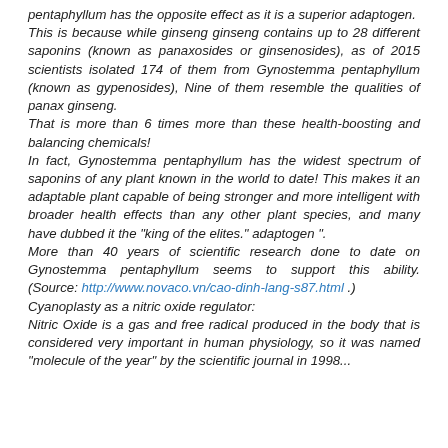pentaphyllum has the opposite effect as it is a superior adaptogen.
This is because while ginseng ginseng contains up to 28 different saponins (known as panaxosides or ginsenosides), as of 2015 scientists isolated 174 of them from Gynostemma pentaphyllum (known as gypenosides), Nine of them resemble the qualities of panax ginseng.
That is more than 6 times more than these health-boosting and balancing chemicals!
In fact, Gynostemma pentaphyllum has the widest spectrum of saponins of any plant known in the world to date! This makes it an adaptable plant capable of being stronger and more intelligent with broader health effects than any other plant species, and many have dubbed it the "king of the elites." adaptogen ".
More than 40 years of scientific research done to date on Gynostemma pentaphyllum seems to support this ability. (Source: http://www.novaco.vn/cao-dinh-lang-s87.html .)
Cyanoplasty as a nitric oxide regulator:
Nitric Oxide is a gas and free radical produced in the body that is considered very important in human physiology, so it was named "molecule of the year" by the scientific journal in 1998...